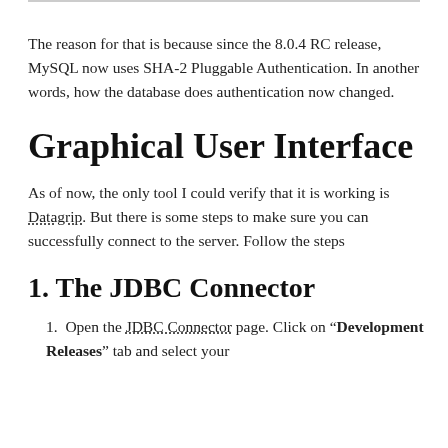The reason for that is because since the 8.0.4 RC release, MySQL now uses SHA-2 Pluggable Authentication. In another words, how the database does authentication now changed.
Graphical User Interface
As of now, the only tool I could verify that it is working is Datagrip. But there is some steps to make sure you can successfully connect to the server. Follow the steps
1. The JDBC Connector
1. Open the JDBC Connector page. Click on “Development Releases” tab and select your